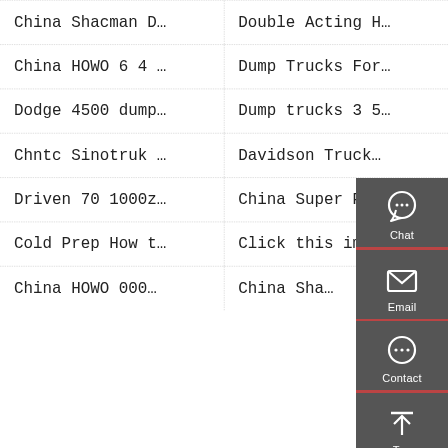China Shacman D…
Double Acting H…
China HOWO 6 4 …
Dump Trucks For…
Dodge 4500 dump…
Dump trucks 3 5…
Chntc Sinotruk …
Davidson Truck…
Driven 70 1000z…
China Super P…
Cold Prep How t…
Click this imag…
China HOWO 000…
China Sha…
[Figure (infographic): Dark grey sidebar overlay with Chat, Email, Contact, and Top navigation icons]